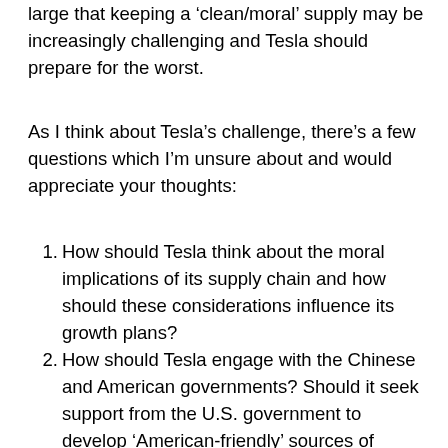large that keeping a 'clean/moral' supply may be increasingly challenging and Tesla should prepare for the worst.
As I think about Tesla's challenge, there's a few questions which I'm unsure about and would appreciate your thoughts:
How should Tesla think about the moral implications of its supply chain and how should these considerations influence its growth plans?
How should Tesla engage with the Chinese and American governments? Should it seek support from the U.S. government to develop 'American-friendly' sources of materials?
How can or should Tesla organize its supply chain to adapt to potential rapid changes in battery technology? How could it build flexibility